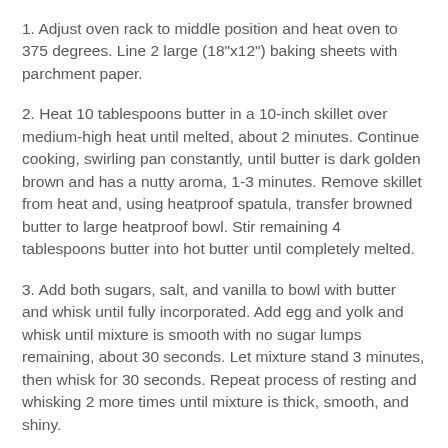1. Adjust oven rack to middle position and heat oven to 375 degrees. Line 2 large (18"x12") baking sheets with parchment paper.
2. Heat 10 tablespoons butter in a 10-inch skillet over medium-high heat until melted, about 2 minutes. Continue cooking, swirling pan constantly, until butter is dark golden brown and has a nutty aroma, 1-3 minutes. Remove skillet from heat and, using heatproof spatula, transfer browned butter to large heatproof bowl. Stir remaining 4 tablespoons butter into hot butter until completely melted.
3. Add both sugars, salt, and vanilla to bowl with butter and whisk until fully incorporated. Add egg and yolk and whisk until mixture is smooth with no sugar lumps remaining, about 30 seconds. Let mixture stand 3 minutes, then whisk for 30 seconds. Repeat process of resting and whisking 2 more times until mixture is thick, smooth, and shiny.
4. During one of the rest times, whisk flour and baking soda together in a small bowl and set aside.